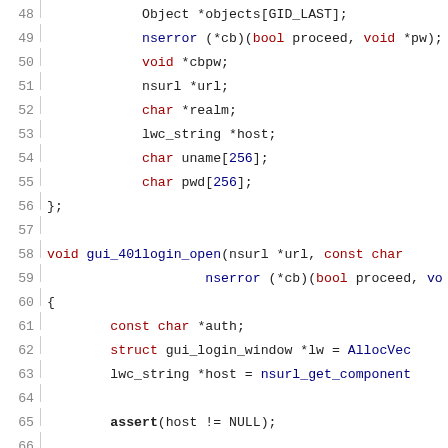[Figure (screenshot): Source code listing in C, lines 48-77, showing struct members and gui_401login_open function definition with syntax highlighting (keywords in dark red, identifiers in dark blue, string literals in red, line numbers in gray).]